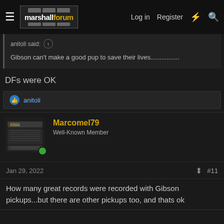marshallforum — Log in  Register
anitoli said: Gibson can't make a good pup to save their lives................
DFs were OK
anitoli
Marcomel79
Well-Known Member
Jan 29, 2022  #11
How many great records were recorded with Gibson pickups...but there are other pickups too, and thats ok